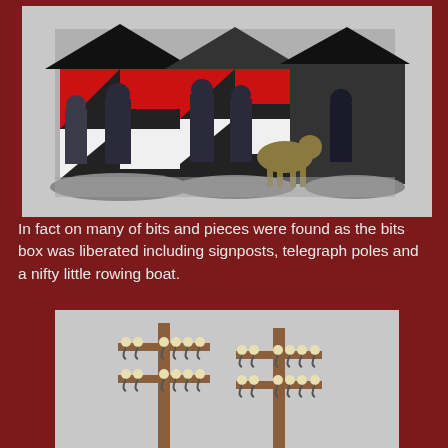[Figure (photo): Military miniature figurines of German soldiers in grey uniforms standing in front of striped sentry boxes painted in black, white, and red diagonal chevron pattern. A German Shepherd dog figure is also present. The scene is set on a display base.]
In fact on many of bits and pieces were found as the bits box was liberated including signposts, telegraph poles and a nifty little rowing boat.
[Figure (photo): Two wooden telegraph poles with metal cross-arms and ceramic insulators, shown against a light grey background.]